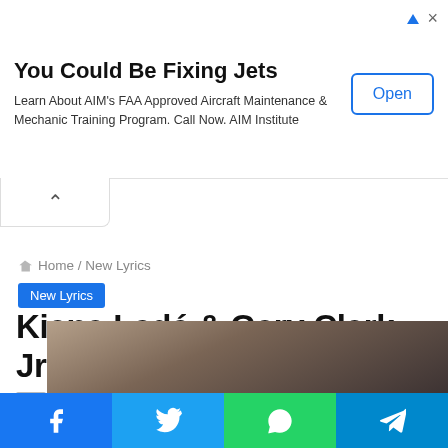[Figure (screenshot): Advertisement banner: 'You Could Be Fixing Jets' with Open button]
You Could Be Fixing Jets
Learn About AIM's FAA Approved Aircraft Maintenance & Mechanic Training Program. Call Now. AIM Institute
Home / New Lyrics
New Lyrics
Kiana Ledé & Gary Clark Jr. – Youth. lyrics
jamesklyric · October 24, 2020 · 0 · 2 minutes read
[Figure (photo): Partial photo/image of artists, brownish-dark toned]
[Figure (infographic): Social share bar with Facebook, Twitter, WhatsApp, Telegram buttons]